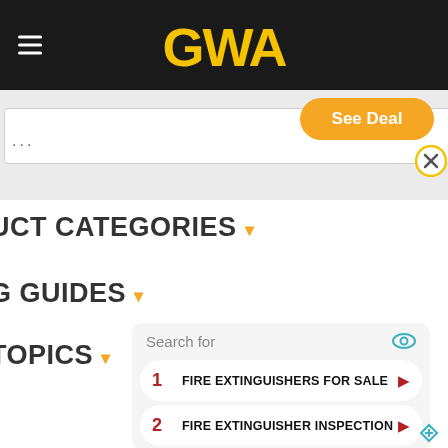GWA
[Figure (screenshot): See Deal orange pill button with close X circle button]
UCT CATEGORIES
G GUIDES
TOPICS
[Figure (screenshot): Search widget showing 'Search for' with eye icon, result 1: FIRE EXTINGUISHERS FOR SALE, result 2: FIRE EXTINGUISHER INSPECTION, each with red arrow]
[Figure (logo): Ad indicator icon bottom right]